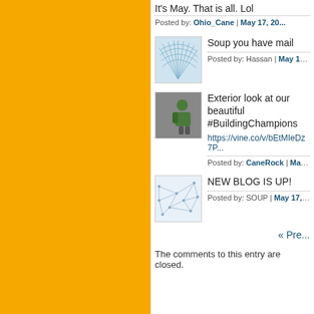It's May. That is all. Lol
Posted by: Ohio_Cane | May 17, 20...
[Figure (photo): Avatar with blue feather/fan design on light blue background]
Soup you have mail
Posted by: Hassan | May 17, 2013 a...
[Figure (photo): Avatar showing a football player in green jersey]
Exterior look at our beautiful #BuildingChampions
https://vine.co/v/bEtMIeDz7P...
Posted by: CaneRock | May 17, 201...
[Figure (photo): Avatar with light blue map/network pattern on white background]
NEW BLOG IS UP!
Posted by: SOUP | May 17, 2013 at...
« Pre...
The comments to this entry are closed.